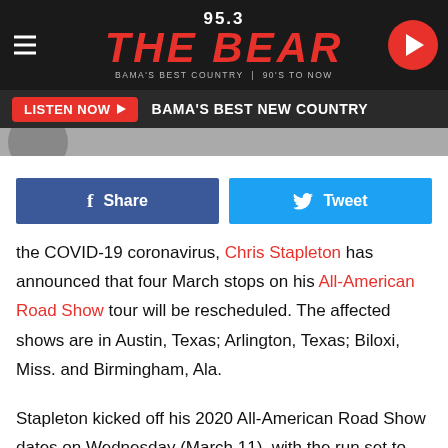[Figure (logo): 95.3 The Bear radio station logo with hamburger menu and play button]
[Figure (screenshot): Listen Now bar - BAMA'S BEST NEW COUNTRY]
[Figure (screenshot): Social share buttons: Facebook Share and Twitter Tweet]
the COVID-19 coronavirus, Chris Stapleton has announced that four March stops on his All-American Road Show tour will be rescheduled. The affected shows are in Austin, Texas; Arlington, Texas; Biloxi, Miss. and Birmingham, Ala.
Stapleton kicked off his 2020 All-American Road Show dates on Wednesday (March 11), with the run set to continue through October. As of now, the next official date on the tour